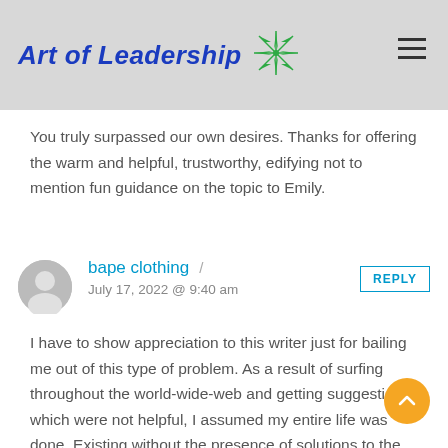Art of Leadership
You truly surpassed our own desires. Thanks for offering the warm and helpful, trustworthy, edifying not to mention fun guidance on the topic to Emily.
bape clothing / July 17, 2022 @ 9:40 am
I have to show appreciation to this writer just for bailing me out of this type of problem. As a result of surfing throughout the world-wide-web and getting suggestions which were not helpful, I assumed my entire life was done. Existing without the presence of solutions to the issues you've sorted out all through your good posting is a critical case, as well as one which may have negatively damaged my career if I hadn't noticed your web page. Your primary know-how and kindness in...